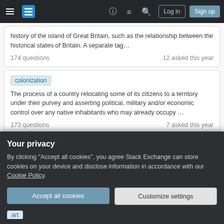Stack Exchange navigation bar with Log in and Sign up buttons
history of the island of Great Britain, such as the relationship between the historical states of Britain. A separate tag…
174 questions    12 asked this year
colonization
The process of a country relocating some of its citizens to a territory under their purvey and asserting political, military and/or economic control over any native inhabitants who may already occupy …
173 questions    7 asked this year
Your privacy
By clicking "Accept all cookies", you agree Stack Exchange can store cookies on your device and disclose information in accordance with our Cookie Policy.
Accept all cookies
Customize settings
art